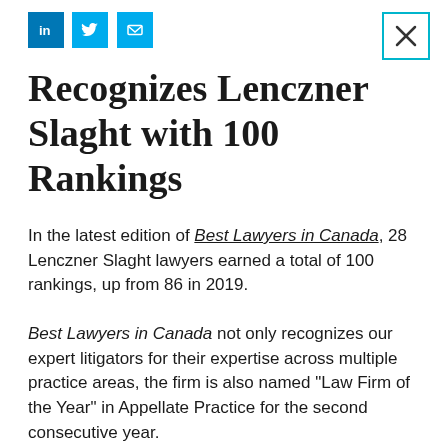[Figure (infographic): Social media icons: LinkedIn (blue square with 'in'), Twitter (blue square with bird), Email (blue square with envelope icon), and a close/X button with teal border in top right corner]
Recognizes Lenczner Slaght with 100 Rankings
In the latest edition of Best Lawyers in Canada, 28 Lenczner Slaght lawyers earned a total of 100 rankings, up from 86 in 2019.
Best Lawyers in Canada not only recognizes our expert litigators for their expertise across multiple practice areas, the firm is also named "Law Firm of the Year" in Appellate Practice for the second consecutive year.